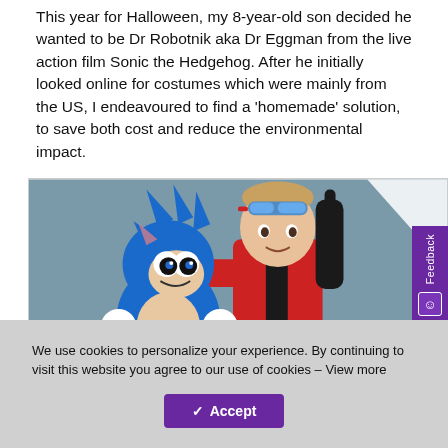This year for Halloween, my 8-year-old son decided he wanted to be Dr Robotnik aka Dr Eggman from the live action film Sonic the Hedgehog. After he initially looked online for costumes which were mainly from the US, I endeavoured to find a 'homemade' solution, to save both cost and reduce the environmental impact.
[Figure (photo): A young boy dressed as Dr Robotnik/Eggman from Sonic the Hedgehog, wearing a red costume with black accents, blue swimming goggles on his head, and a black glove on one hand raised up with one finger pointed. He is holding a blue Sonic the Hedgehog plush toy. Background is a grey-blue wall with a white triangular shape visible in the upper right.]
We use cookies to personalize your experience. By continuing to visit this website you agree to our use of cookies – View more